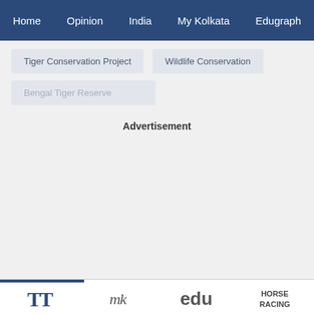Home | Opinion | India | My Kolkata | Edugraph
Tiger Conservation Project
Wildlife Conservation
Bengal Tiger Reserve
Advertisement
TT | My Kolkata | edu | HORSE RACING